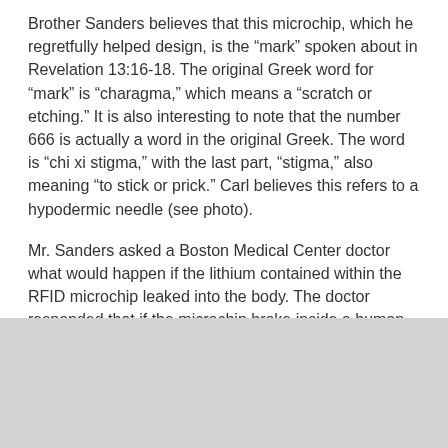Brother Sanders believes that this microchip, which he regretfully helped design, is the “mark” spoken about in Revelation 13:16-18. The original Greek word for “mark” is “charagma,” which means a “scratch or etching.” It is also interesting to note that the number 666 is actually a word in the original Greek. The word is “chi xi stigma,” with the last part, “stigma,” also meaning “to stick or prick.” Carl believes this refers to a hypodermic needle (see photo).
Mr. Sanders asked a Boston Medical Center doctor what would happen if the lithium contained within the RFID microchip leaked into the body. The doctor responded that if the microchip broke inside a human body, the lithium would cause a severe and painful wound filled with pus. This is what